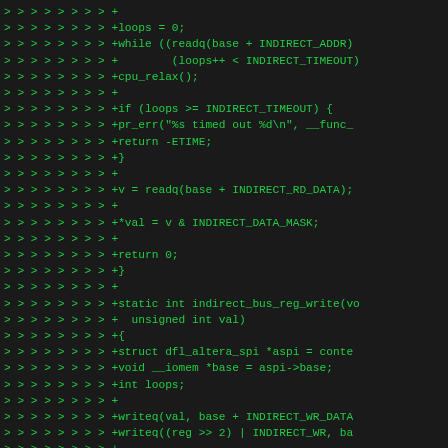[Figure (screenshot): Code diff showing additions to a kernel driver, green monospace text on dark background with '> > > > > > > >' prefixes indicating deeply nested diff context lines, showing C code for indirect bus register read/write functions including loops, timeout handling, and memory-mapped I/O operations.]